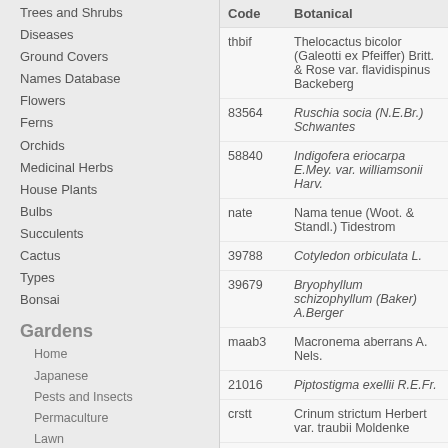Trees and Shrubs
Diseases
Ground Covers
Names Database
Flowers
Ferns
Orchids
Medicinal Herbs
House Plants
Bulbs
Succulents
Cactus
Types
Bonsai
Gardens
Home
Japanese
Pests and Insects
Permaculture
Lawn
Garden How To
Home Improvement
Interior Design
Decorating
House Improvement
Security
Finance
| Code | Botanical |
| --- | --- |
| thbif | Thelocactus bicolor (Galeotti ex Pfeiffer) Britt. & Rose var. flavidispinus Backeberg |
| 83564 | Ruschia socia (N.E.Br.) Schwantes |
| 58840 | Indigofera eriocarpa E.Mey. var. williamsonii Harv. |
| nate | Nama tenue (Woot. & Standl.) Tidestrom |
| 39788 | Cotyledon orbiculata L. |
| 39679 | Bryophyllum schizophyllum (Baker) A.Berger |
| maab3 | Macronema aberrans A. Nels. |
| 21016 | Piptostigma exellii R.E.Fr. |
| crstt | Crinum strictum Herbert var. traubii Moldenke |
| 38139 | Rourea erythrocalyx (Gilg ex G.Schellenb.) Jongkind |